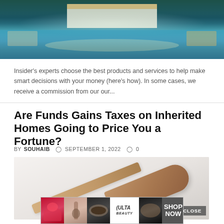[Figure (photo): Luxury resort pool with cabanas and evening lighting, reflection in water]
Insider's experts choose the best products and services to help make smart decisions with your money (here's how). In some cases, we receive a commission from our our...
Are Funds Gains Taxes on Inherited Homes Going to Price You a Fortune?
BY SOUHAIB  ○ SEPTEMBER 1, 2022  ○ 0
[Figure (photo): Judge's gavel on a light gray surface, legal concept image]
[Figure (photo): Ulta Beauty advertisement banner with makeup product images and SHOP NOW call to action]